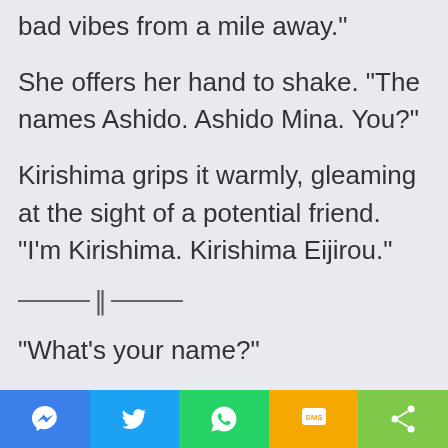bad vibes from a mile away."
She offers her hand to shake. "The names Ashido. Ashido Mina. You?"
Kirishima grips it warmly, gleaming at the sight of a potential friend. "I'm Kirishima. Kirishima Eijirou."
———||———
"What's your name?"
"Kirishima Eijirou."
[Figure (infographic): Social sharing toolbar with Messenger, Twitter, WhatsApp, SMS, and share icons]